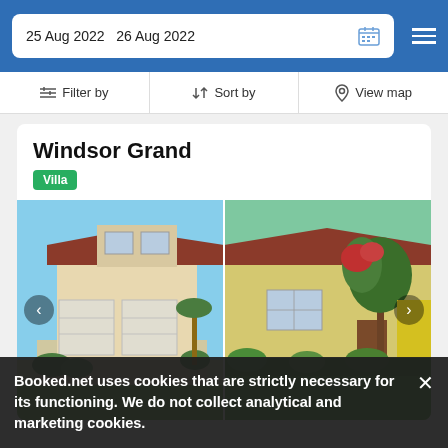25 Aug 2022   26 Aug 2022
Filter by   Sort by   View map
Windsor Grand
Villa
[Figure (photo): Exterior photo of Windsor Grand villa showing a two-story house with red tile roof, two-car garage, palm tree, lush green lawn and flowering trees.]
Booked.net uses cookies that are strictly necessary for its functioning. We do not collect analytical and marketing cookies.
12 adults · 5 bedrooms · 6 beds